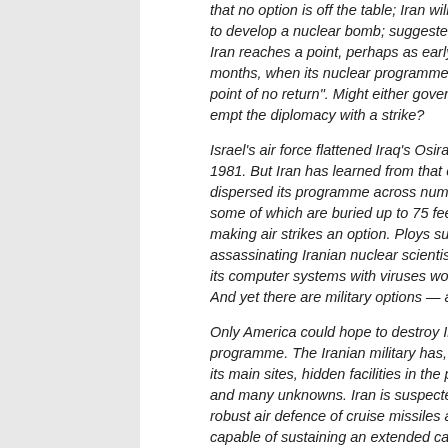that no option is off the table; Iran will not be allowed to develop a nuclear bomb; suggested that, once Iran reaches a point, perhaps as early as a few months, when its nuclear programme will be at the point of no return. Might either government pre-empt the diplomacy with a strike?
Israel's air force flattened Iraq's Osirak reactor in 1981. But Iran has learned from that episode. It has dispersed its programme across numerous facilities; some of which are buried up to 75 feet underground, making air strikes an option. Ploys such as assassinating Iranian nuclear scientists or infecting its computer systems with viruses would also help. And yet there are military options—though dangerous and risky.
Only America could hope to destroy Iran's programme. The Iranian military has, in addition to its main sites, hidden facilities in the programme, and many unknowns. Iran is suspected of having a robust air defence of cruise missiles and fighters capable of sustaining an extended campaign against the country. Corridors would have to be found past these defences and the Iranian military response. Collateral damage, to Iran and the region, could be extensive.